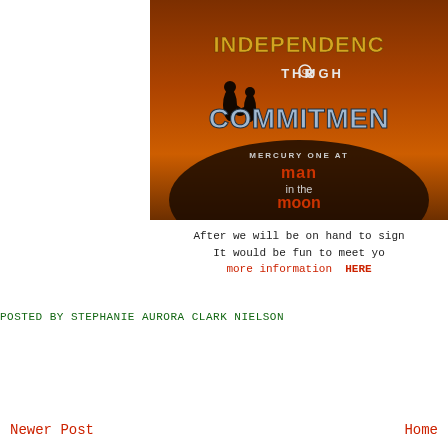[Figure (illustration): Banner image for 'Independence Through Commitment' event at Mercury One at Man in the Moon. Dark background with silhouettes of two people holding hands at sunset, large stylized text reading INDEPENDENCE THROUGH COMMITMENT, MERCURY ONE AT man in the moon.]
After we will be on hand to sign
It would be fun to meet yo
more information  HERE
POSTED BY STEPHANIE AURORA CLARK NIELSON
Newer Post
Home